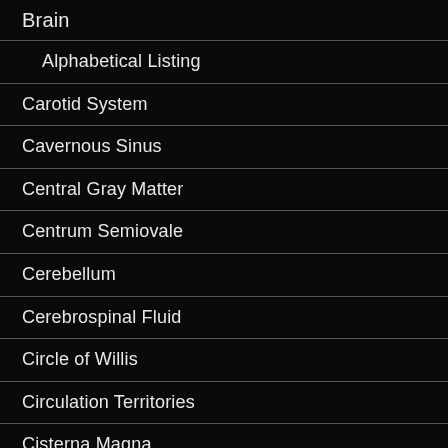Brain
Alphabetical Listing
Carotid System
Cavernous Sinus
Central Gray Matter
Centrum Semiovale
Cerebellum
Cerebrospinal Fluid
Circle of Willis
Circulation Territories
Cisterna Magna
Commissures